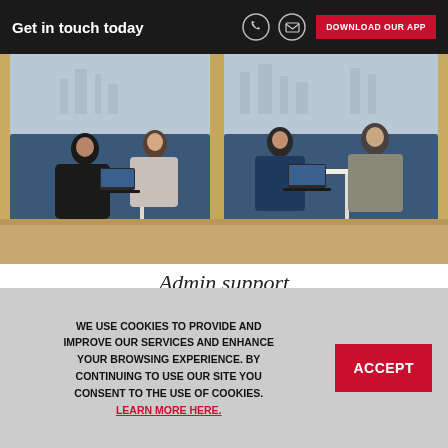Get in touch today | DOWNLOAD OUR APP
[Figure (photo): Photo of people working in office booths with blue seating and wooden dividers, working on laptops at white tables]
Admin support
Staffed reception and mail handling included
WE USE COOKIES TO PROVIDE AND IMPROVE OUR SERVICES AND ENHANCE YOUR BROWSING EXPERIENCE. BY CONTINUING TO USE OUR SITE YOU CONSENT TO THE USE OF COOKIES. LEARN MORE HERE.